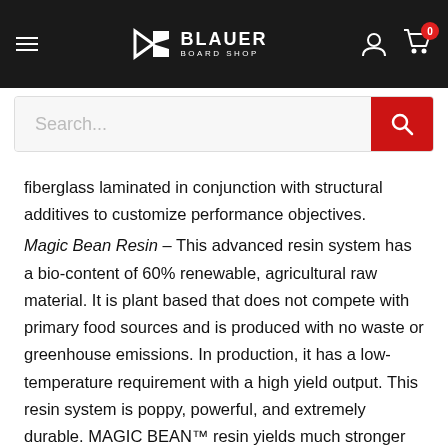[Figure (screenshot): Blauer Board Shop navigation bar with hamburger menu, logo, user and cart icons on dark background]
[Figure (screenshot): Search bar with placeholder text 'Search...' and red search button]
fiberglass laminated in conjunction with structural additives to customize performance objectives. Magic Bean Resin – This advanced resin system has a bio-content of 60% renewable, agricultural raw material. It is plant based that does not compete with primary food sources and is produced with no waste or greenhouse emissions. In production, it has a low-temperature requirement with a high yield output. This resin system is poppy, powerful, and extremely durable. MAGIC BEAN™ resin yields much stronger and more rigid qualities allowing us to decrease the wood core thickness. Our focus is to save wood core weight by increasing resin